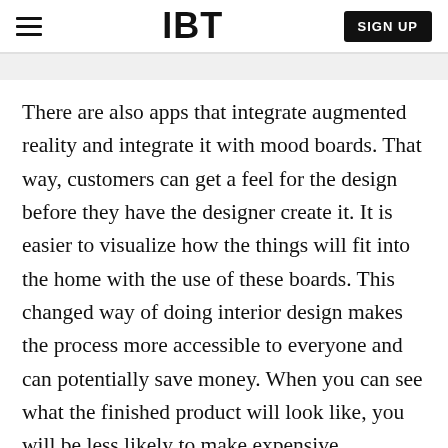IBT  SIGN UP
There are also apps that integrate augmented reality and integrate it with mood boards. That way, customers can get a feel for the design before they have the designer create it. It is easier to visualize how the things will fit into the home with the use of these boards. This changed way of doing interior design makes the process more accessible to everyone and can potentially save money. When you can see what the finished product will look like, you will be less likely to make expensive